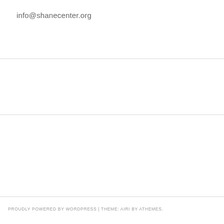info@shanecenter.org
PROUDLY POWERED BY WORDPRESS | THEME: AIRI BY ATHEMES.